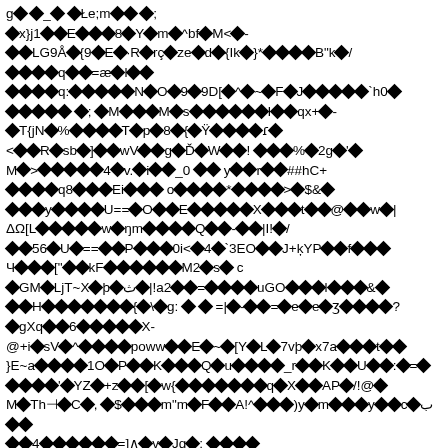Garbled/encoded text content with diamond replacement characters throughout the page. The content appears to be corrupted or encoded binary data rendered as text with diamond symbols replacing unrecognized characters.